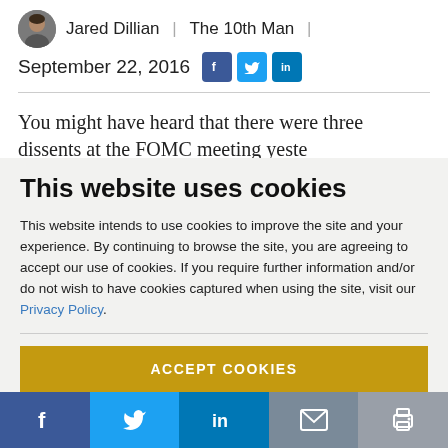Jared Dillian | The 10th Man | September 22, 2016
You might have heard that there were three dissents at the FOMC meeting yesterday.
This website uses cookies
This website intends to use cookies to improve the site and your experience. By continuing to browse the site, you are agreeing to accept our use of cookies. If you require further information and/or do not wish to have cookies captured when using the site, visit our Privacy Policy.
ACCEPT COOKIES